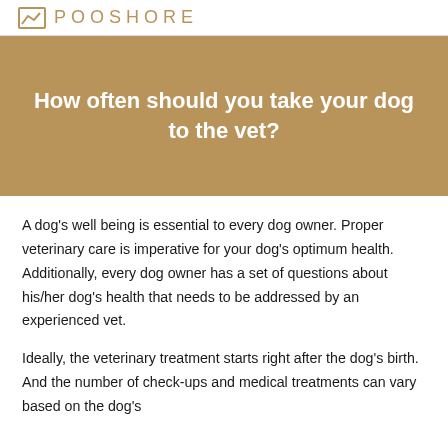POOSHORE
How often should you take your dog to the vet?
A dog's well being is essential to every dog owner. Proper veterinary care is imperative for your dog's optimum health. Additionally, every dog owner has a set of questions about his/her dog's health that needs to be addressed by an experienced vet.
Ideally, the veterinary treatment starts right after the dog's birth. And the number of check-ups and medical treatments can vary based on the dog's...